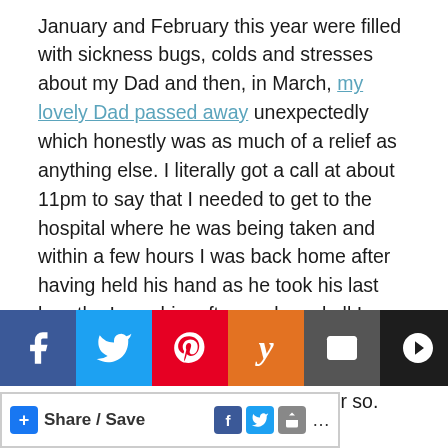January and February this year were filled with sickness bugs, colds and stresses about my Dad and then, in March, my lovely Dad passed away unexpectedly which honestly was as much of a relief as anything else. I literally got a call at about 11pm to say that I needed to get to the hospital where he was being taken and within a few hours I was back home after having held his hand as he took his last breath.  I saw him afterwards and all I remember is thinking that he looked like the Dad I remember and not the Dad he’d become over the past six months or so.

Obviously it goes without saying that I was devastated but I think it was easier than it might have been because deep down I know that I’d
[Figure (other): Social media share bar with icons for Facebook, Twitter, Pinterest, Yummly, Email, Buffer, Messenger, and Reddit, plus a Share/Save button bar below]